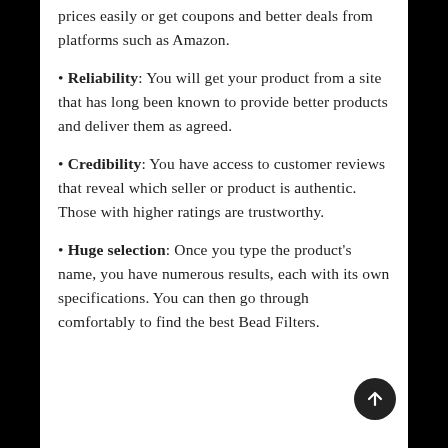prices easily or get coupons and better deals from platforms such as Amazon.
Reliability: You will get your product from a site that has long been known to provide better products and deliver them as agreed.
Credibility: You have access to customer reviews that reveal which seller or product is authentic. Those with higher ratings are trustworthy.
Huge selection: Once you type the product's name, you have numerous results, each with its own specifications. You can then go through comfortably to find the best Bead Filters.